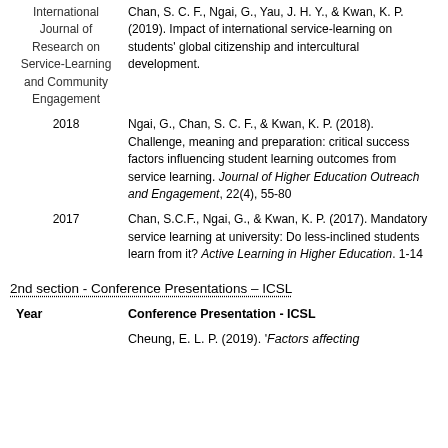| Journal/Year | Reference |
| --- | --- |
| International Journal of Research on Service-Learning and Community Engagement | Chan, S. C. F., Ngai, G., Yau, J. H. Y., & Kwan, K. P. (2019).  Impact of international service-learning on students' global citizenship and intercultural development. |
| 2018 | Ngai, G., Chan, S. C. F., & Kwan, K. P. (2018). Challenge, meaning and preparation: critical success factors influencing student learning outcomes from service learning.  Journal of Higher Education Outreach and Engagement, 22(4), 55-80 |
| 2017 | Chan, S.C.F., Ngai, G., & Kwan, K. P. (2017). Mandatory service learning at university: Do less-inclined students learn from it? Active Learning in Higher Education. 1-14 |
2nd section - Conference Presentations – ICSL
| Year | Conference Presentation - ICSL |
| --- | --- |
|  | Cheung, E. L. P. (2019). 'Factors affecting |